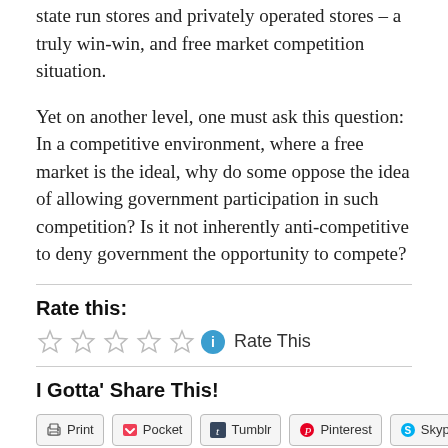state run stores and privately operated stores – a truly win-win, and free market competition situation.
Yet on another level, one must ask this question: In a competitive environment, where a free market is the ideal, why do some oppose the idea of allowing government participation in such competition? Is it not inherently anti-competitive to deny government the opportunity to compete?
Rate this:
[Figure (other): Five empty star rating icons followed by a blue info icon and the text 'Rate This']
I Gotta' Share This!
Print  Pocket  Tumblr  Pinterest  Skype